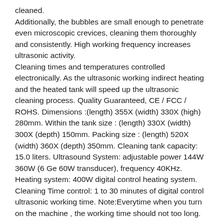cleaned. Additionally, the bubbles are small enough to penetrate even microscopic crevices, cleaning them thoroughly and consistently. High working frequency increases ultrasonic activity. Cleaning times and temperatures controlled electronically. As the ultrasonic working indirect heating and the heated tank will speed up the ultrasonic cleaning process. Quality Guaranteed, CE / FCC / ROHS. Dimensions :(length) 355X (width) 330X (high) 280mm. Within the tank size : (length) 330X (width) 300X (depth) 150mm. Packing size : (length) 520X (width) 360X (depth) 350mm. Cleaning tank capacity: 15.0 liters. Ultrasound System: adjustable power 144W 360W (6 Ge 60W transducer), frequency 40KHz. Heating system: 400W digital control heating system. Cleaning Time control: 1 to 30 minutes of digital control ultrasonic working time. Note:Everytime when you turn on the machine , the working time should not too long.